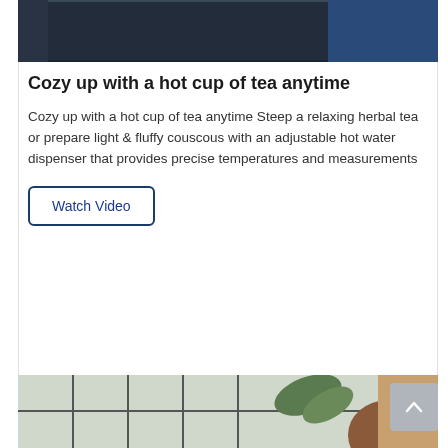[Figure (photo): Top portion of a dark kitchen appliance (oven or refrigerator) with a metallic handle, dark grey/black finish, with a blue background.]
Cozy up with a hot cup of tea anytime
Cozy up with a hot cup of tea anytime Steep a relaxing herbal tea or prepare light & fluffy couscous with an adjustable hot water dispenser that provides precise temperatures and measurements
Watch Video
[Figure (photo): Bottom portion showing a window with grid panes, a green plant leaf, and part of a person's head (hair visible), in a bright/outdoor setting.]